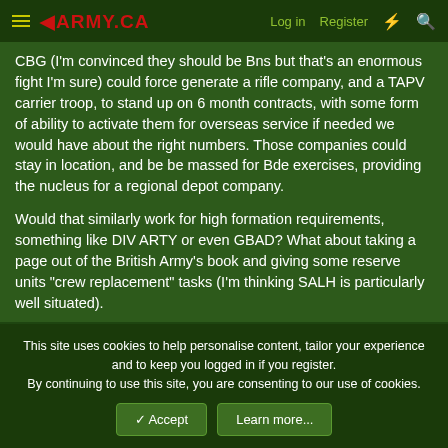◄ARMY.CA  Log in  Register
CBG (I'm convinced they should be Bns but that's an enormous fight I'm sure) could force generate a rifle company, and a TAPV carrier troop, to stand up on 6 month contracts, with some form of ability to activate them for overseas service if needed we would have about the right numbers. Those companies could stay in location, and be be massed for Bde exercises, providing the nucleus for a regional depot company.
Would that similarly work for high formation requirements, something like DIV ARTY or even GBAD? What about taking a page out of the British Army's book and giving some reserve units "crew replacement" tasks (I'm thinking SALH is particularly well situated).
This site uses cookies to help personalise content, tailor your experience and to keep you logged in if you register.
By continuing to use this site, you are consenting to our use of cookies.